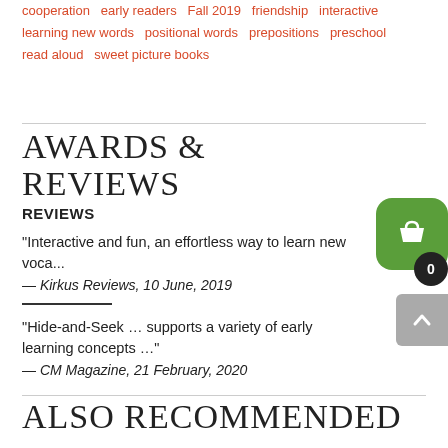cooperation  early readers  Fall 2019  friendship  interactive  learning new words  positional words  prepositions  preschool  read aloud  sweet picture books
AWARDS & REVIEWS
REVIEWS
"Interactive and fun, an effortless way to learn new voca...
— Kirkus Reviews, 10 June, 2019
"Hide-and-Seek ... supports a variety of early learning concepts ..."
— CM Magazine, 21 February, 2020
ALSO RECOMMENDED